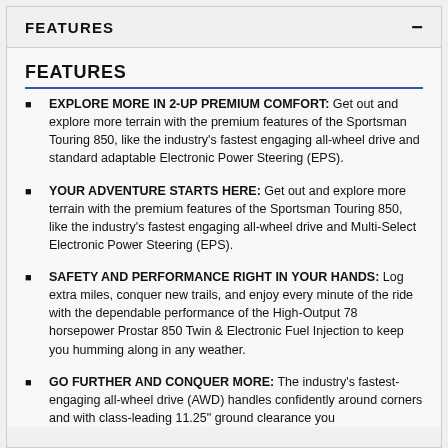FEATURES
FEATURES
EXPLORE MORE IN 2-UP PREMIUM COMFORT: Get out and explore more terrain with the premium features of the Sportsman Touring 850, like the industry’s fastest engaging all-wheel drive and standard adaptable Electronic Power Steering (EPS).
YOUR ADVENTURE STARTS HERE: Get out and explore more terrain with the premium features of the Sportsman Touring 850, like the industry’s fastest engaging all-wheel drive and Multi-Select Electronic Power Steering (EPS).
SAFETY AND PERFORMANCE RIGHT IN YOUR HANDS: Log extra miles, conquer new trails, and enjoy every minute of the ride with the dependable performance of the High-Output 78 horsepower Prostar 850 Twin & Electronic Fuel Injection to keep you humming along in any weather.
GO FURTHER AND CONQUER MORE: The industry’s fastest-engaging all-wheel drive (AWD) handles confidently around corners and with class-leading 11.25" ground clearance you